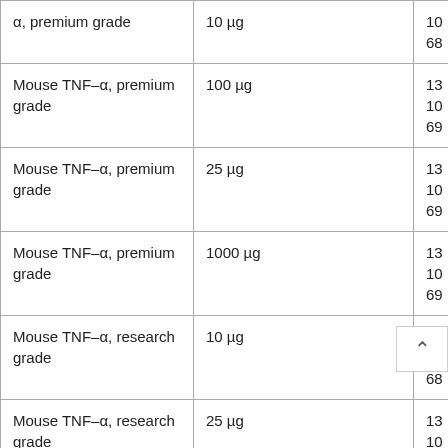| Product | Size | Cat. No. |
| --- | --- | --- |
| α, premium grade | 10 µg | 10
68 |
| Mouse TNF–α, premium grade | 100 µg | 13
10
69 |
| Mouse TNF–α, premium grade | 25 µg | 13
10
69 |
| Mouse TNF–α, premium grade | 1000 µg | 13
10
69 |
| Mouse TNF–α, research grade | 10 µg | 13
10
68 |
| Mouse TNF–α, research grade | 25 µg | 13
10 |
| Mouse TPO, research | 100 µg | 13
09 |